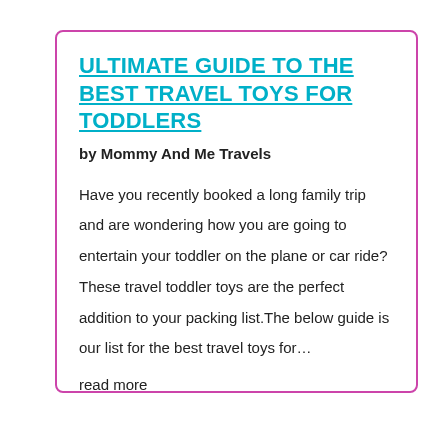ULTIMATE GUIDE TO THE BEST TRAVEL TOYS FOR TODDLERS
by Mommy And Me Travels
Have you recently booked a long family trip and are wondering how you are going to entertain your toddler on the plane or car ride? These travel toddler toys are the perfect addition to your packing list.The below guide is our list for the best travel toys for…
read more